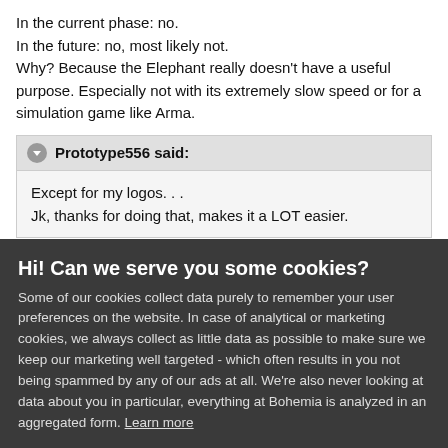In the current phase: no.
In the future: no, most likely not.
Why? Because the Elephant really doesn't have a useful purpose. Especially not with its extremely slow speed or for a simulation game like Arma.
Prototype556 said:
Except for my logos. . .
Jk, thanks for doing that, makes it a LOT easier.
Sorry about that :( I didn't add every single picture in the thread.
jcinto23  +10
Hi! Can we serve you some cookies?
Some of our cookies collect data purely to remember your user preferences on the website. In case of analytical or marketing cookies, we always collect as little data as possible to make sure we keep our marketing well targeted - which often results in you not being spammed by any of our ads at all. We're also never looking at data about you in particular, everything at Bohemia is analyzed in an aggregated form. Learn more